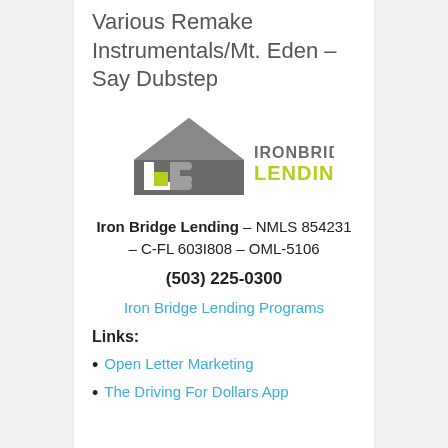Various Remake Instrumentals/Mt. Eden – Say Dubstep
[Figure (logo): Iron Bridge Lending logo with house icon and IB lettermark, company name in gray and yellow-green]
Iron Bridge Lending – NMLS 854231 – C-FL 603I808 – OML-5106
(503) 225-0300
Iron Bridge Lending Programs
Links:
Open Letter Marketing
The Driving For Dollars App